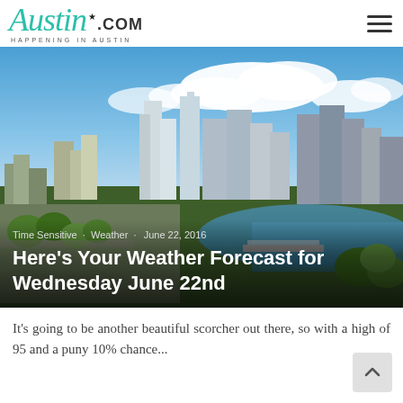Austin.com — HAPPENING IN AUSTIN
[Figure (photo): Aerial cityscape of Austin, Texas with downtown skyline, river, and blue sky with clouds. Overlay text shows tags: Time Sensitive · Weather · June 22, 2016 and headline: Here's Your Weather Forecast for Wednesday June 22nd]
Here's Your Weather Forecast for Wednesday June 22nd
It's going to be another beautiful scorcher out there, so with a high of 95 and a puny 10% chance...